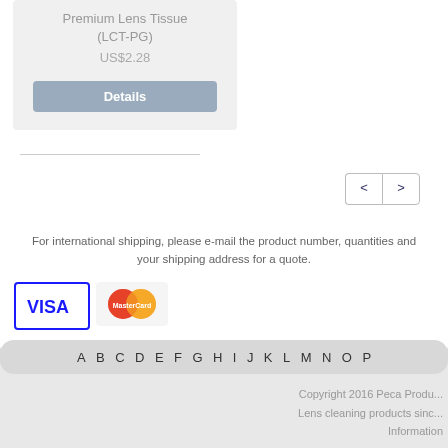Premium Lens Tissue (LCT-PG)
US$2.28
Details
< >
For international shipping, please e-mail the product number, quantities and your shipping address for a quote.
[Figure (logo): VISA credit card logo]
[Figure (logo): MasterCard credit card logo]
A B C D E F G H I J K L M N O P
Copyright 2016 Peca Produ... Lens cleaning products sinc... Information